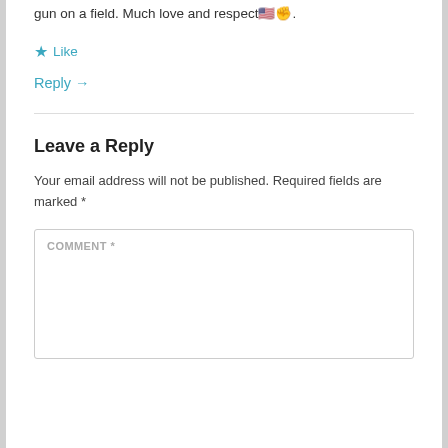gun on a field. Much love and respect🇺🇸✊.
★ Like
Reply →
Leave a Reply
Your email address will not be published. Required fields are marked *
COMMENT *